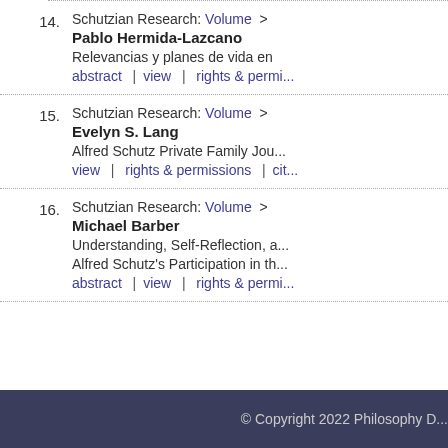14. Schutzian Research: Volume > Pablo Hermida-Lazcano — Relevancias y planes de vida en... abstract | view | rights & permi...
15. Schutzian Research: Volume > Evelyn S. Lang — Alfred Schutz Private Family Jou... view | rights & permissions | cit...
16. Schutzian Research: Volume > Michael Barber — Understanding, Self-Reflection, a... Alfred Schutz's Participation in th... abstract | view | rights & permi...
© Copyright 2022 Philosophy D...